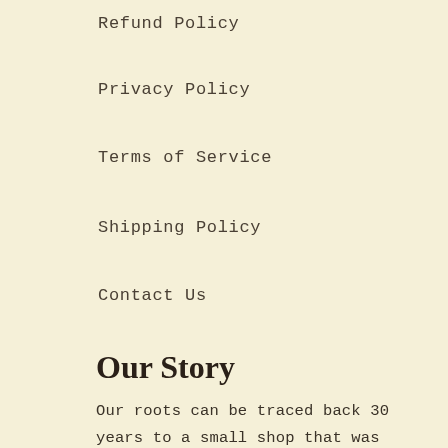Refund Policy
Privacy Policy
Terms of Service
Shipping Policy
Contact Us
Our Story
Our roots can be traced back 30 years to a small shop that was established by professional anglers in the legendary geographical region of southern Siberia. Today, that small shop founded by outdoorsmen in the heart of the Altai Republic to manufacture and sell lures, tackle, waders, fishing rods, ice augers, fish